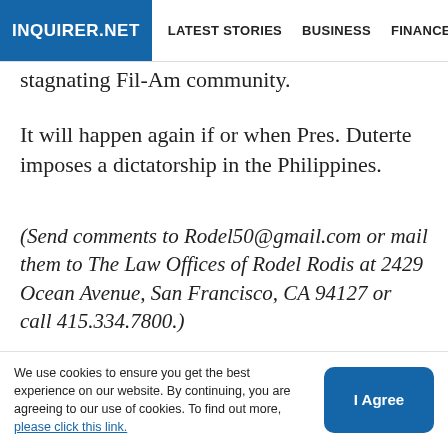INQUIRER.NET | LATEST STORIES | BUSINESS | FINANCE | TECHNOLO
stagnating Fil-Am community.
It will happen again if or when Pres. Duterte imposes a dictatorship in the Philippines.
(Send comments to Rodel50@gmail.com or mail them to The Law Offices of Rodel Rodis at 2429 Ocean Avenue, San Francisco, CA 94127 or call 415.334.7800.)
Subscribe to our newsletters! Get updates right into your inbox
We use cookies to ensure you get the best experience on our website. By continuing, you are agreeing to our use of cookies. To find out more, please click this link.